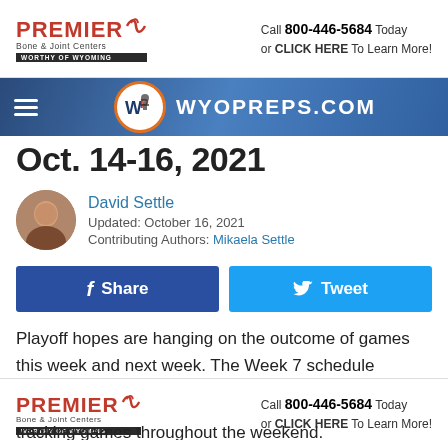[Figure (other): Premier Bone & Joint Centers advertisement banner - top. Text: PREMIER Bone & Joint Centers WORTHY OF WYOMING. Call 800-446-5684 Today or CLICK HERE To Learn More!]
[Figure (other): WyoPreps.com website navigation bar with hamburger menu icon, WP logo circle with orange border, and WYOPREPS.COM text in white]
Oct. 14-16, 2021
David Settle
Updated: October 16, 2021
Contributing Authors: Mikaela Settle
[Figure (other): Facebook Share button (dark blue) and Twitter Tweet button (light blue)]
Playoff hopes are hanging on the outcome of games this week and next week. The Week 7 schedule features games on Thursday, Friday, and Saturday.
Find all your game scores in one place, here! We'll be tracking games throughout the weekend.
[Figure (other): Premier Bone & Joint Centers advertisement banner - bottom. Text: PREMIER Bone & Joint Centers WORTHY OF WYOMING. Call 800-446-5684 Today or CLICK HERE To Learn More!]